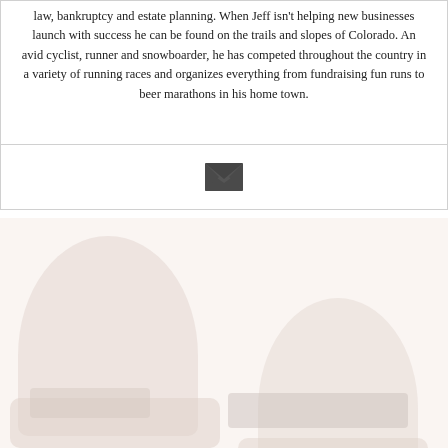law, bankruptcy and estate planning. When Jeff isn't helping new businesses launch with success he can be found on the trails and slopes of Colorado. An avid cyclist, runner and snowboarder, he has competed throughout the country in a variety of running races and organizes everything from fundraising fun runs to beer marathons in his home town.
[Figure (other): Email envelope icon centered in a bordered box]
[Figure (photo): Faded/light photograph showing two people at a table, very washed out in pale pinkish-white tones]